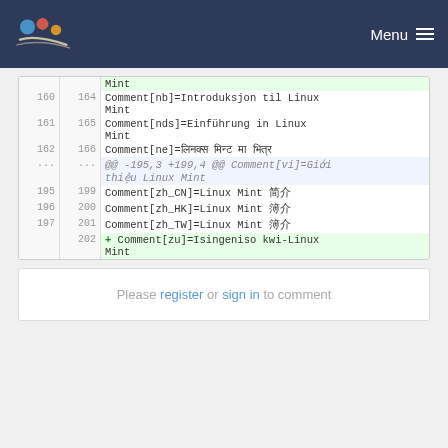Menu
| old | new | code |
| --- | --- | --- |
|  |  | Mint |
| 160 | 164 | Comment[nb]=Introduksjon til Linux Mint |
| 161 | 165 | Comment[nds]=Einführung in Linux Mint |
| 162 | 166 | Comment[ne]=लिनक्स मिन्ट मा  भूमिका |
| ... | ... | @@ -195,3 +199,4 @@ Comment[vi]=Giới thiệu Linux Mint |
| 195 | 199 | Comment[zh_CN]=Linux Mint 简介 |
| 196 | 200 | Comment[zh_HK]=Linux Mint 簡介 |
| 197 | 201 | Comment[zh_TW]=Linux Mint 簡介 |
|  | 202 | + Comment[zu]=Isingeniso kwi-Linux Mint |
Please register or sign in to comment